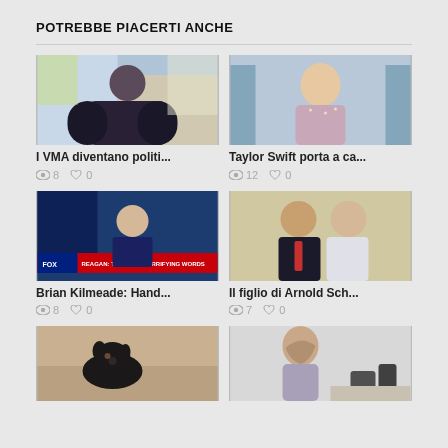POTREBBE PIACERTI ANCHE
[Figure (photo): Woman in dark feathered dress at VMA event]
I VMA diventano politi...
👁 8  🤍 0
[Figure (photo): Taylor Swift in sparkling dress at awards event]
Taylor Swift porta a ca...
👁 12  🤍 0
[Figure (photo): Brian Kilmeade on Fox News with Reagan quote chyron]
Brian Kilmeade: Hand...
👁 8  🤍 0
[Figure (photo): Arnold Schwarzenegger and his son posing together]
Il figlio di Arnold Sch...
👁 7  🤍 0
[Figure (photo): Black dog sitting on floor indoors]
[Figure (photo): Woman from behind holding hair with phone on table]